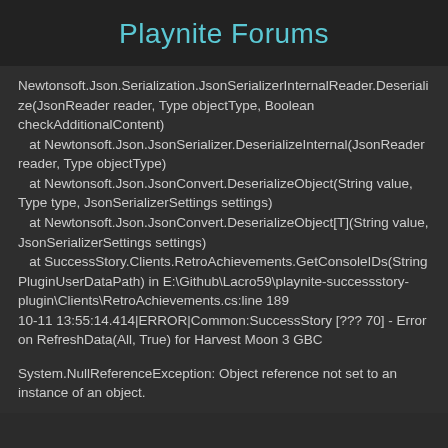Playnite Forums
Newtonsoft.Json.Serialization.JsonSerializerInternalReader.Deserialize(JsonReader reader, Type objectType, Boolean checkAdditionalContent)
   at Newtonsoft.Json.JsonSerializer.DeserializeInternal(JsonReader reader, Type objectType)
   at Newtonsoft.Json.JsonConvert.DeserializeObject(String value, Type type, JsonSerializerSettings settings)
   at Newtonsoft.Json.JsonConvert.DeserializeObject[T](String value, JsonSerializerSettings settings)
   at SuccessStory.Clients.RetroAchievements.GetConsoleIDs(String PluginUserDataPath) in E:\Github\Lacro59\playnite-successstory-plugin\Clients\RetroAchievements.cs:line 189
10-11 13:55:14.414|ERROR|Common:SuccessStory [??? 70] - Error on RefreshData(All, True) for Harvest Moon 3 GBC
System.NullReferenceException: Object reference not set to an instance of an object.